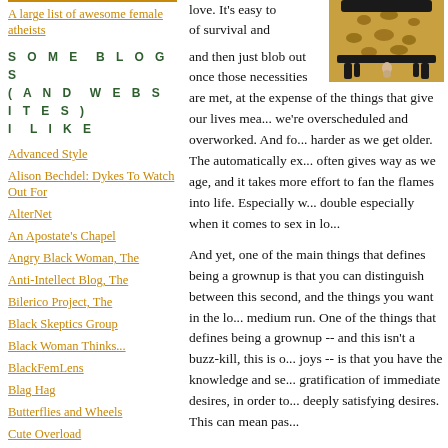A large list of awesome female atheists
SOME BLOGS (AND WEBSITES) I LIKE
Advanced Style
Alison Bechdel: Dykes To Watch Out For
AlterNet
An Apostate's Chapel
Angry Black Woman, The
Anti-Intellect Blog, The
Bilerico Project, The
Black Skeptics Group
Black Woman Thinks...
BlackFemLens
Blag Hag
Butterflies and Wheels
Cute Overload
[Figure (photo): A leopard-print chair with black frame, an animal leg visible underneath]
love. It's easy to of survival and
and then just blob out once those necessities are met, at the expense of the things that give our lives meaning, we're overscheduled and overworked. And for... harder as we get older. The automatically ex... often gives way as we age, and it takes more effort to fan the flames into life. Especially w... double especially when it comes to sex in lo...

And yet, one of the main things that defines being a grownup is that you can distinguish between this second, and the things you want in the lo... medium run. One of the things that defines being a grownup -- and this isn't a buzz-kill, this is o... joys -- is that you have the knowledge and se... gratification of immediate desires, in order to... deeply satisfying desires. This can mean pas...